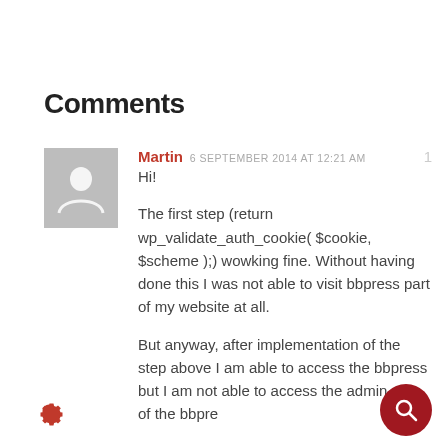Comments
Martin  6 SEPTEMBER 2014 AT 12:21 AM  1

Hi!

The first step (return wp_validate_auth_cookie( $cookie, $scheme );) wowking fine. Without having done this I was not able to visit bbpress part of my website at all.

But anyway, after implementation of the step above I am able to access the bbpress but I am not able to access the admin area of the bbpre...